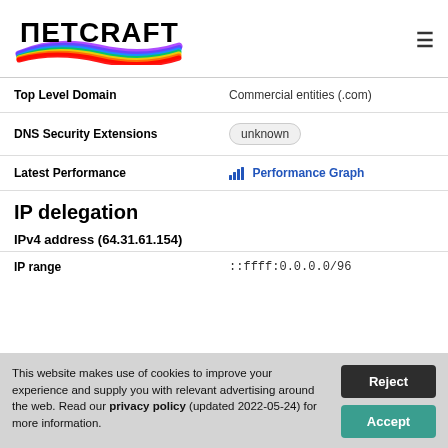[Figure (logo): Netcraft logo with rainbow brush stroke and bold black text]
| Top Level Domain | Commercial entities (.com) |
| DNS Security Extensions | unknown |
| Latest Performance | Performance Graph |
IP delegation
IPv4 address (64.31.61.154)
| IP range | ::ffff:0.0.0.0/96 |
This website makes use of cookies to improve your experience and supply you with relevant advertising around the web. Read our privacy policy (updated 2022-05-24) for more information.